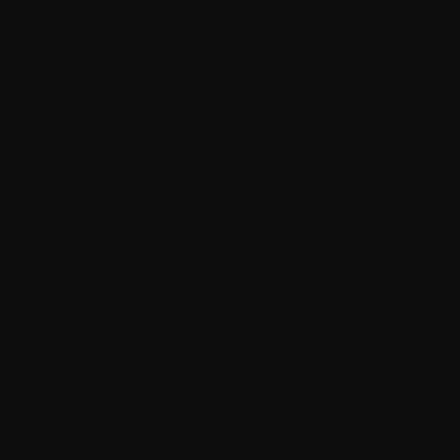Trap Maste...
Lure
Advanced T...
Trap Primir...
Technique / Dual...
Dual Strike...
Flurry
Heartseeke...
Whirlwind
Cunning / Dirty ...
Dirty Fighti...
Backstab
Blinding Po...
Twist the K...
Cunning / Poison...
Apply Poiso...
Toxic Death...
Vile Poisons...
Venomous S...